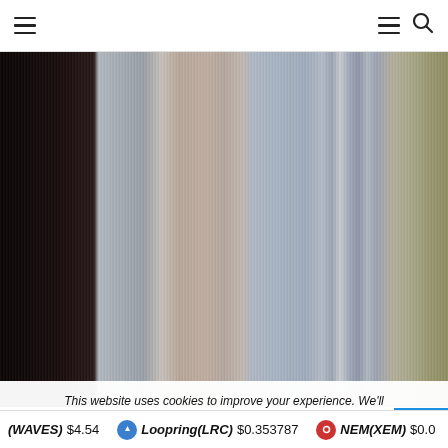Navigation header with hamburger menus and search icon
[Figure (photo): Abstract vertical color stripes image — dark black on left, transitioning through grey, muted pinkish-beige in center, blue-grey, and olive/khaki on right edge. Blurred vertical motion effect.]
This website uses cookies to improve your experience. We'll assume you're ok with this, but you can opt-out if you wi...
(WAVES) $4.54  Loopring(LRC) $0.353787  NEM(XEM) $0.0...